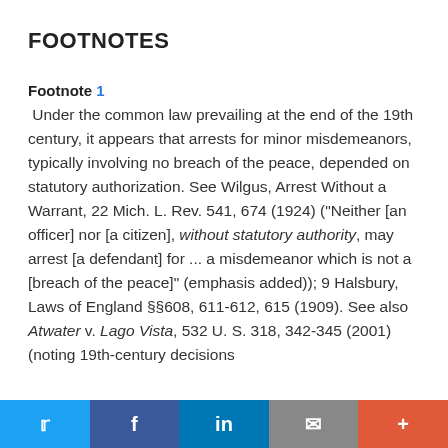FOOTNOTES
Footnote 1
 Under the common law prevailing at the end of the 19th century, it appears that arrests for minor misdemeanors, typically involving no breach of the peace, depended on statutory authorization. See Wilgus, Arrest Without a Warrant, 22 Mich. L. Rev. 541, 674 (1924) ("Neither [an officer] nor [a citizen], without statutory authority, may arrest [a defendant] for ... a misdemeanor which is not a [breach of the peace]" (emphasis added)); 9 Halsbury, Laws of England §§608, 611-612, 615 (1909). See also Atwater v. Lago Vista, 532 U. S. 318, 342-345 (2001) (noting 19th-century decisions